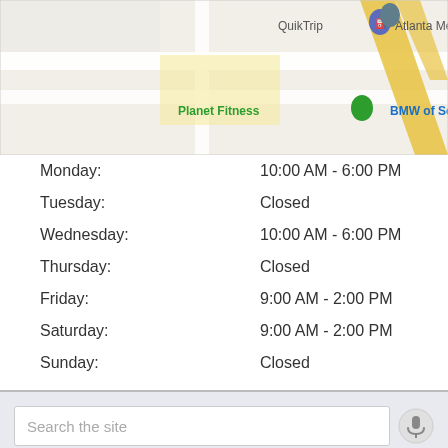[Figure (map): Google Maps screenshot showing QuikTrip, Planet Fitness, Atlanta Metro Studio, and BMW of South Atlanta locations]
| Day | Hours |
| --- | --- |
| Monday: | 10:00 AM - 6:00 PM |
| Tuesday: | Closed |
| Wednesday: | 10:00 AM - 6:00 PM |
| Thursday: | Closed |
| Friday: | 9:00 AM - 2:00 PM |
| Saturday: | 9:00 AM - 2:00 PM |
| Sunday: | Closed |
Search the site
Home
Contact Us